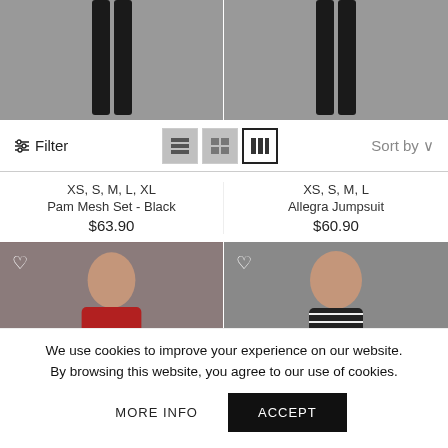[Figure (photo): Two cropped fashion product photos showing lower legs in black pants/trousers on grey background]
Filter
Sort by
XS, S, M, L, XL
Pam Mesh Set - Black
$63.90
XS, S, M, L
Allegra Jumpsuit
$60.90
[Figure (photo): Fashion model wearing red satin slip dress on grey background, with heart/wishlist icon overlay]
[Figure (photo): Fashion model wearing black and white striped halter top on grey background, with heart/wishlist icon overlay]
We use cookies to improve your experience on our website. By browsing this website, you agree to our use of cookies.
MORE INFO
ACCEPT